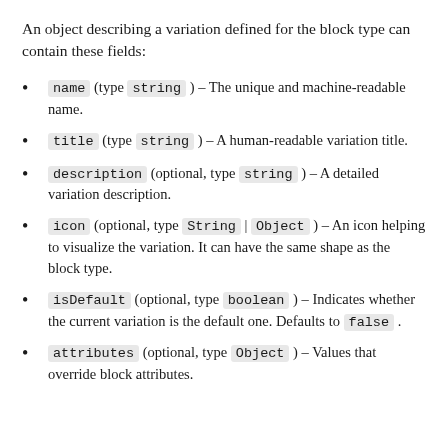An object describing a variation defined for the block type can contain these fields:
name (type string) – The unique and machine-readable name.
title (type string) – A human-readable variation title.
description (optional, type string) – A detailed variation description.
icon (optional, type String | Object) – An icon helping to visualize the variation. It can have the same shape as the block type.
isDefault (optional, type boolean) – Indicates whether the current variation is the default one. Defaults to false.
attributes (optional, type Object) – Values that override block attributes.